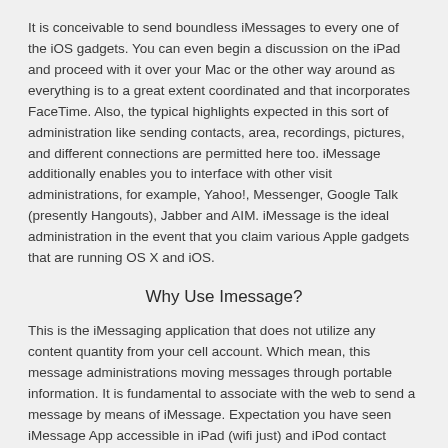It is conceivable to send boundless iMessages to every one of the iOS gadgets. You can even begin a discussion on the iPad and proceed with it over your Mac or the other way around as everything is to a great extent coordinated and that incorporates FaceTime. Also, the typical highlights expected in this sort of administration like sending contacts, area, recordings, pictures, and different connections are permitted here too. iMessage additionally enables you to interface with other visit administrations, for example, Yahoo!, Messenger, Google Talk (presently Hangouts), Jabber and AIM. iMessage is the ideal administration in the event that you claim various Apple gadgets that are running OS X and iOS.
Why Use Imessage?
This is the iMessaging application that does not utilize any content quantity from your cell account. Which mean, this message administrations moving messages through portable information. It is fundamental to associate with the web to send a message by means of iMessage. Expectation you have seen iMessage App accessible in iPad (wifi just) and iPod contact which can utilize however Wifi as it were. iMessage application